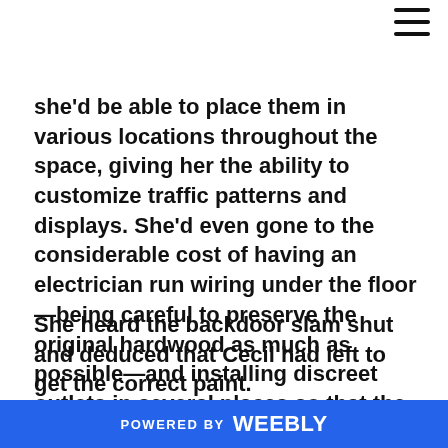≡
she'd be able to place them in various locations throughout the space, giving her the ability to customize traffic patterns and displays. She'd even gone to the considerable cost of having an electrician run wiring under the floor—being careful to preserve the original hardwood as much as possible—and installing discreet outlets in several places so that the portable panels, each wired internally, would have proper lighting.
She heard the backdoor slam shut and deduced that Cecil had left to get the correct paint. She picked up the pile of...
POWERED BY weebly